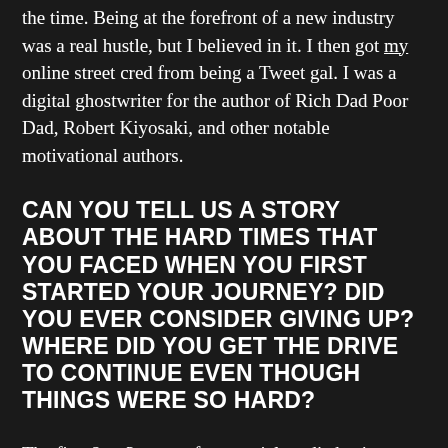the time. Being at the forefront of a new industry was a real hustle, but I believed in it. I then got my online street cred from being a Tweet gal. I was a digital ghostwriter for the author of Rich Dad Poor Dad, Robert Kiyosaki, and other notable motivational authors.
CAN YOU TELL US A STORY ABOUT THE HARD TIMES THAT YOU FACED WHEN YOU FIRST STARTED YOUR JOURNEY? DID YOU EVER CONSIDER GIVING UP? WHERE DID YOU GET THE DRIVE TO CONTINUE EVEN THOUGH THINGS WERE SO HARD?
The first 2 to 3 years of our social media business were a struggle. It was an uphill battle explaining why people needed to use this new platform as a way to market and brand themselves. Also, being a young female made it hard to initially create credibility. The reason there was never a day I wanted to give up was because I believed in the